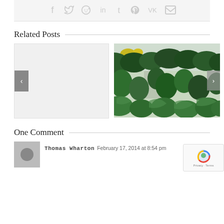[Figure (other): Social media sharing icons: Facebook, Twitter, Reddit, LinkedIn, Tumblr, Pinterest, VK, Email]
Related Posts
[Figure (other): Left related post placeholder (light gray rectangle) with left navigation arrow button]
[Figure (photo): Right related post: photo of greenhouse plants/greens, with right navigation arrow button]
One Comment
[Figure (other): Gray avatar placeholder for commenter]
Thomas Wharton  February 17, 2014 at 8:54 pm